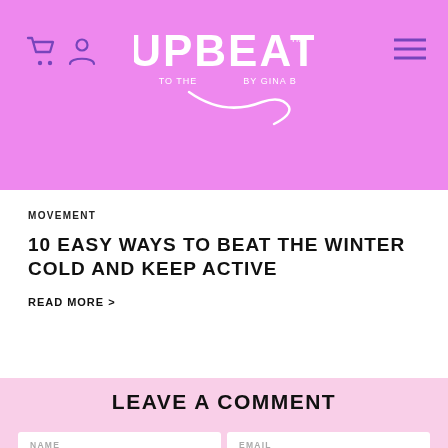UPBEAT TO THE BEAT BY GINA B
MOVEMENT
10 EASY WAYS TO BEAT THE WINTER COLD AND KEEP ACTIVE
READ MORE >
LEAVE A COMMENT
NAME
EMAIL